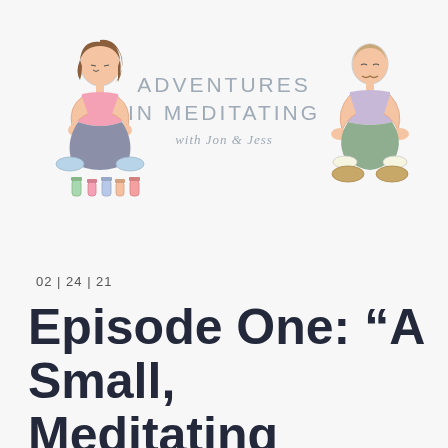[Figure (illustration): Podcast logo for 'Adventures in Meditating with Jon & Jess'. Shows a woman in meditation pose on the left, text in the center, and a man sitting cross-legged on the right. Colorful small bottles below woman figure.]
02 | 24 | 21
Episode One: “A Small, Meditating